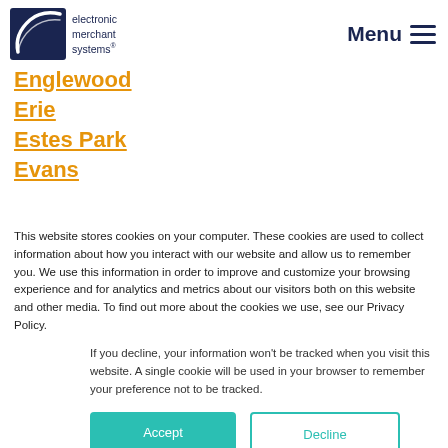[Figure (logo): Electronic Merchant Systems logo with dark blue arc/card shape and company name text]
Menu ≡
Englewood
Erie
Estes Park
Evans
This website stores cookies on your computer. These cookies are used to collect information about how you interact with our website and allow us to remember you. We use this information in order to improve and customize your browsing experience and for analytics and metrics about our visitors both on this website and other media. To find out more about the cookies we use, see our Privacy Policy.
If you decline, your information won't be tracked when you visit this website. A single cookie will be used in your browser to remember your preference not to be tracked.
Accept | Decline